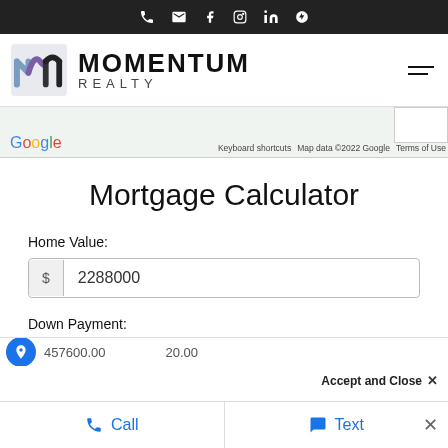Top navigation bar with phone, email, facebook, instagram, linkedin, and yelp icons
[Figure (logo): Momentum Realty logo with stylized 'm' icon in blue and purple, followed by MOMENTUM REALTY text]
[Figure (screenshot): Google Maps strip with Google logo, Keyboard shortcuts, Map data ©2022 Google, Terms of Use text and a white map box]
Mortgage Calculator
Home Value:
$ 2288000
Down Payment:
457600.00   20.00
Accept and Close ×
Call   Text